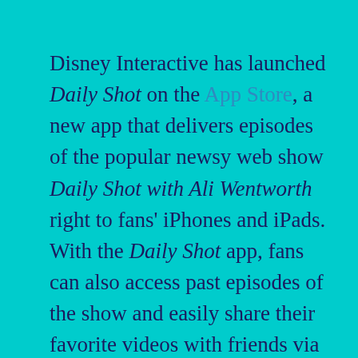Disney Interactive has launched Daily Shot on the App Store, a new app that delivers episodes of the popular newsy web show Daily Shot with Ali Wentworth right to fans' iPhones and iPads. With the Daily Shot app, fans can also access past episodes of the show and easily share their favorite videos with friends via email, Twitter and Facebook. You will even be able to connect directly with Ali Wentworth through her Twitter account @AliEWentworth!